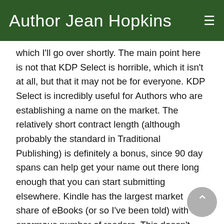Author Jean Hopkins
which I'll go over shortly. The main point here is not that KDP Select is horrible, which it isn't at all, but that it may not be for everyone. KDP Select is incredibly useful for Authors who are establishing a name on the market. The relatively short contract length (although probably the standard in Traditional Publishing) is definitely a bonus, since 90 day spans can help get your name out there long enough that you can start submitting elsewhere. Kindle has the largest market share of eBooks (or so I've been told) with an enormous number of readers. This doesn't mean no other eBook store is worth submitting to, but it does mean it's your quickest entry into the market if you use don't mess up like I did. Just so we're clear here, submitting using KDP Select first is a good idea, but once you have established enough readers, you should also submit to other stores. Many Kindle readers have friends who prefer Sony, Nook, Kobo, etc. Those friends won't be able to get